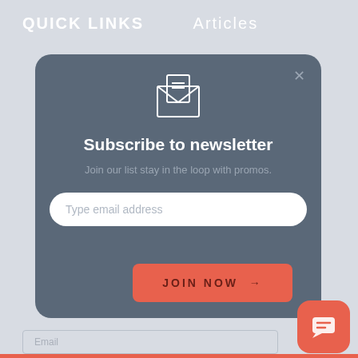QUICK LINKS   Articles
[Figure (screenshot): Newsletter subscription modal card with envelope icon, title 'Subscribe to newsletter', subtitle 'Join our list stay in the loop with promos.', email input field, and orange 'Join Now →' button. Close X button in top right of modal.]
Subscribe to newsletter
Join our list stay in the loop with promos.
Type email address
Join Now →
Email
[Figure (logo): Orange rounded square chat/messaging widget icon in bottom right corner]